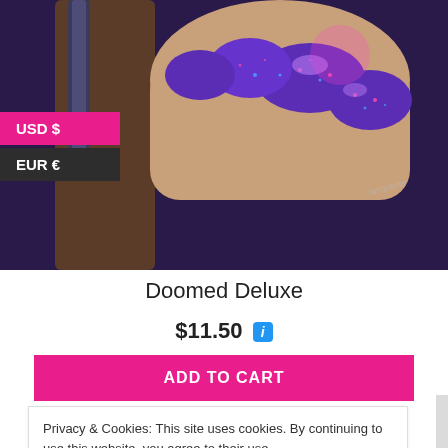[Figure (photo): Close-up photo of a hand holding a nail polish bottle, nails painted deep purple/glitter holographic color]
USD $
EUR €
Doomed Deluxe
$11.50 ℹ
ADD TO CART
Privacy & Cookies: This site uses cookies. By continuing to use this website, you agree to their use.
To find out more, including how to control cookies, see here: Privacy & Cookie Policy
Close and accept